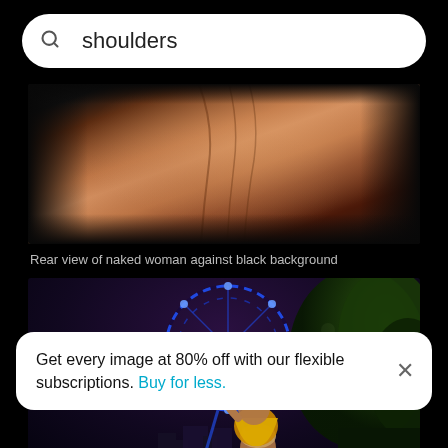[Figure (screenshot): Mobile app search bar showing query 'shoulders' with magnifying glass icon on white rounded background]
[Figure (photo): Rear view of naked woman's back/shoulders against black background]
Rear view of naked woman against black background
[Figure (photo): Night scene of adult carrying child on shoulders with illuminated blue ferris wheel (Singapore Flyer) in background and city lights]
Get every image at 80% off with our flexible subscriptions. Buy for less.